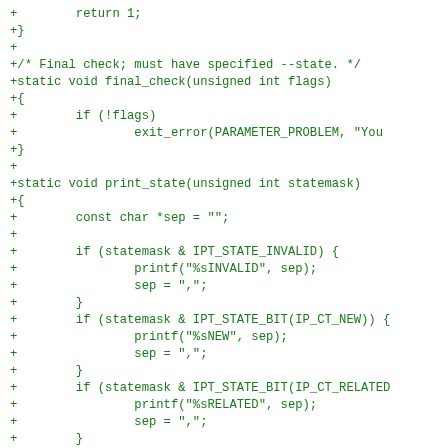+        return 1;
+}
+
+/* Final check; must have specified --state. */
+static void final_check(unsigned int flags)
+{
+        if (!flags)
+                exit_error(PARAMETER_PROBLEM, "You
+}
+
+static void print_state(unsigned int statemask)
+{
+        const char *sep = "";
+
+        if (statemask & IPT_STATE_INVALID) {
+                printf("%sINVALID", sep);
+                sep = ",";
+        }
+        if (statemask & IPT_STATE_BIT(IP_CT_NEW)) {
+                printf("%sNEW", sep);
+                sep = ",";
+        }
+        if (statemask & IPT_STATE_BIT(IP_CT_RELATED
+                printf("%sRELATED", sep);
+                sep = ",";
+        }
+        if (statemask & IPT_STATE_BIT(IP_CT_ESTABLI
+                printf("%sESTABLISHED", sep);
+                sep = ",";
+        }